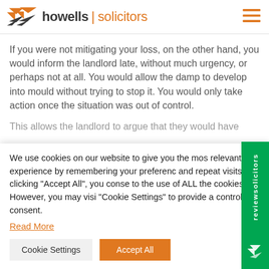howells solicitors
If you were not mitigating your loss, on the other hand, you would inform the landlord late, without much urgency, or perhaps not at all. You would allow the damp to develop into mould without trying to stop it. You would only take action once the situation was out of control.
This allows the landlord to argue that they would have
We use cookies on our website to give you the most relevant experience by remembering your preferences and repeat visits. By clicking “Accept All”, you consent to the use of ALL the cookies. However, you may visit “Cookie Settings” to provide a controlled consent.
Read More
Cookie Settings
Accept All